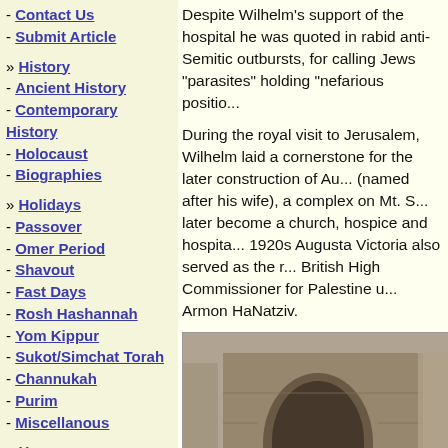- Contact Us
- Submit Article
» History
- Ancient History
- Contemporary History
- Holocaust
- Biographies
» Holidays
- Passover
- Omer Period
- Shavout
- Fast Days
- Rosh Hashannah
- Yom Kippur
- Sukot/Simchat Torah
- Channukah
- Purim
- Miscellanous
» Humor
- Humor Pages
Despite Wilhelm's support of the hospital he was quoted in rabid anti-Semitic outbursts, for calling Jews "parasites" holding "nefarious positio...
During the royal visit to Jerusalem, Wilhelm laid a cornerstone for the later construction of Au... (named after his wife), a complex on Mt. S... later become a church, hospice and hospita... 1920s Augusta Victoria also served as the r... British High Commissioner for Palestine u... Armon HaNatziv.
[Figure (photo): Historical black and white photograph showing a large crowd of people gathered at what appears to be a stone gate or entrance in Jerusalem, likely during Wilhelm II's royal visit.]